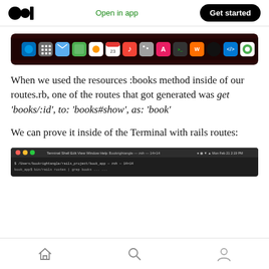Medium app header with logo, Open in app, Get started
[Figure (screenshot): macOS dock screenshot showing app icons on dark red/maroon background]
When we used the resources :books method inside of our routes.rb, one of the routes that got generated was get ‘books/:id’, to: ‘books#show’, as: ‘book’
We can prove it inside of the Terminal with rails routes:
[Figure (screenshot): Terminal window screenshot showing rails routes output]
Bottom navigation bar with home, search, and profile icons